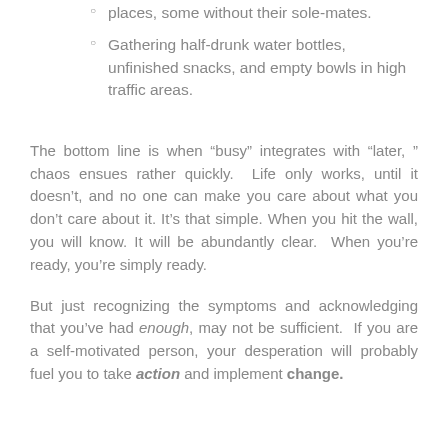places, some without their sole-mates.
Gathering half-drunk water bottles, unfinished snacks, and empty bowls in high traffic areas.
The bottom line is when “busy” integrates with “later, ” chaos ensues rather quickly.  Life only works, until it doesn’t, and no one can make you care about what you don’t care about it. It’s that simple. When you hit the wall, you will know. It will be abundantly clear.  When you’re ready, you’re simply ready.
But just recognizing the symptoms and acknowledging that you’ve had enough, may not be sufficient.  If you are a self-motivated person, your desperation will probably fuel you to take action and implement change.